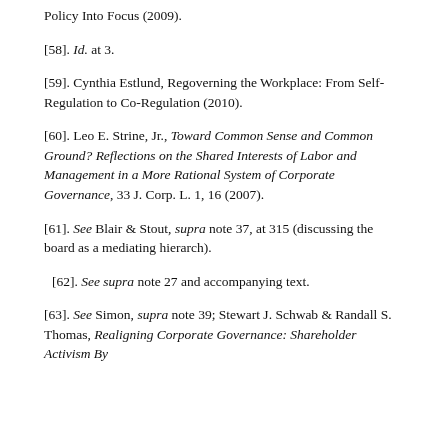Policy Into Focus (2009).
[58]. Id. at 3.
[59]. Cynthia Estlund, Regoverning the Workplace: From Self-Regulation to Co-Regulation (2010).
[60]. Leo E. Strine, Jr., Toward Common Sense and Common Ground? Reflections on the Shared Interests of Labor and Management in a More Rational System of Corporate Governance, 33 J. Corp. L. 1, 16 (2007).
[61]. See Blair & Stout, supra note 37, at 315 (discussing the board as a mediating hierarch).
[62]. See supra note 27 and accompanying text.
[63]. See Simon, supra note 39; Stewart J. Schwab & Randall S. Thomas, Realigning Corporate Governance: Shareholder Activism By...